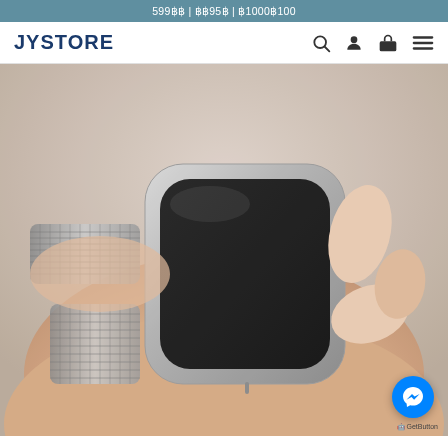599฿฿ | ฿฿95฿ | ฿1000฿100
JYSTORE
[Figure (photo): Close-up photo of a person's wrist wearing a smartwatch with a silver mesh/milanese loop band. Fingers are touching/adjusting the square smartwatch with a dark screen and silver aluminum case. The background is light/white.]